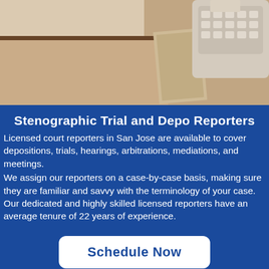[Figure (photo): Sepia-toned photo of a stenography machine on a table with paper tape, court/office setting]
Stenographic Trial and Depo Reporters
Licensed court reporters in San Jose are available to cover depositions, trials, hearings, arbitrations, mediations, and meetings. We assign our reporters on a case-by-case basis, making sure they are familiar and savvy with the terminology of your case. Our dedicated and highly skilled licensed reporters have an average tenure of 22 years of experience.
Schedule Now